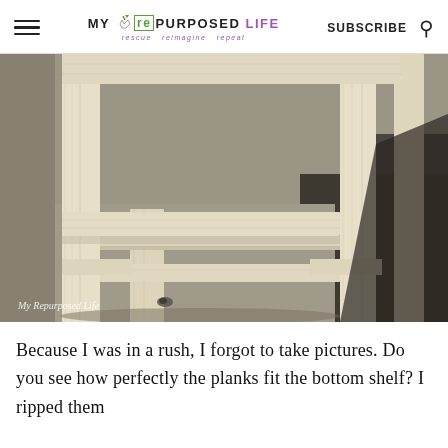MY {re} PURPOSED LIFE — rescue reimagine repeat | SUBSCRIBE
[Figure (photo): A wooden shelf unit with light natural wood, photographed outdoors on a concrete surface. The bottom shelf area is visible with planks fitted neatly. The photo has a watermark reading 'My Repurposed Life' in the lower left corner.]
Because I was in a rush, I forgot to take pictures. Do you see how perfectly the planks fit the bottom shelf? I ripped them